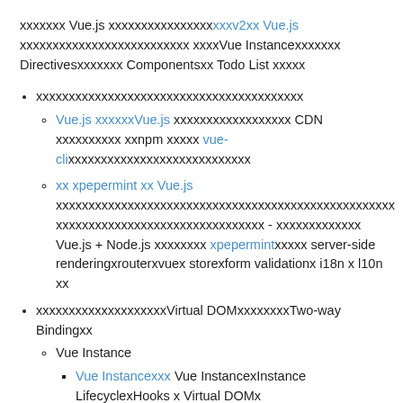xxxxxxx Vue.js xxxxxxxxxxxxxxxxv2xx Vue.js xxxxxxxxxxxxxxxxxxxxxxxxxx xxxVue InstancexxxxxxDirectivesxxxxComponentsxx Todo List xxxxx
xxxxxxxxxxxxxxxxxxxxxxxxxxxxxxxxxxxxxxxxx
Vue.js xxxxxxVue.js xxxxxxxxxxxxxxxxxx CDN xxxxxxxxxx xxnpm xxxxx vue-clixxxxxxxxxxxxxxxxxxxxxxxxxxxx
xx xpepermint xx Vue.js xxxxxxxxxxxxxxxxxxxxxxxxxxxxxxxxxxxxxxxxxxxxxxxxxxxxxx - xxxxxxxxxxxxx Vue.js + Node.js xxxxxxxx xpepermintxxxxx server-side renderingxrouterxvuex storexform validationx i18n x l10n xx
xxxxxxxxxxxxxxxxxxxxVirtual DOMxxxxxxxxTwo-way Bindingxx
Vue Instance
Vue Instancexxx Vue InstancexInstance LifecyclexHooks x Virtual DOMx
Virtual DOM xxxVue.js x 2.0 xxxxxx Virtaul DOMxVirtual DOM xx JavaScript xxxxxx